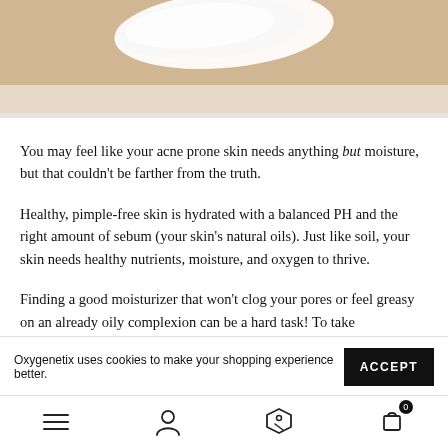[Figure (photo): Close-up of a white cream swipe on a sandy/glittery beige textured background]
You may feel like your acne prone skin needs anything but moisture, but that couldn't be farther from the truth.
Healthy, pimple-free skin is hydrated with a balanced PH and the right amount of sebum (your skin's natural oils). Just like soil, your skin needs healthy nutrients, moisture, and oxygen to thrive.
Finding a good moisturizer that won't clog your pores or feel greasy on an already oily complexion can be a hard task! To take
Oxygenetix uses cookies to make your shopping experience better.